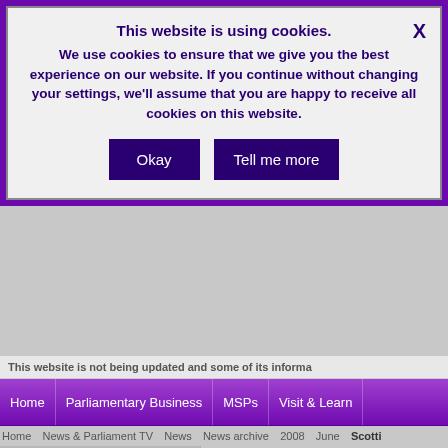This website is using cookies. We use cookies to ensure that we give you the best experience on our website. If you continue without changing your settings, we'll assume that you are happy to receive all cookies on this website.
Okay
Tell me more
This website is not being updated and some of its informa
Home | Parliamentary Business | MSPs | Visit & Learn
Home > News & Parliament TV > News > News archive > 2008 > June > Scotti
News
News archive
Scottish Parliament space m
24/06/2008
A Saltire flag which usually has pride of p round trip journey into space, has today the Presiding Officer Alex Fergusson MS
The Scottish Parliament flag, taken on a su Nick Patrick in recognition of his support for part of Scotland 's national collection.